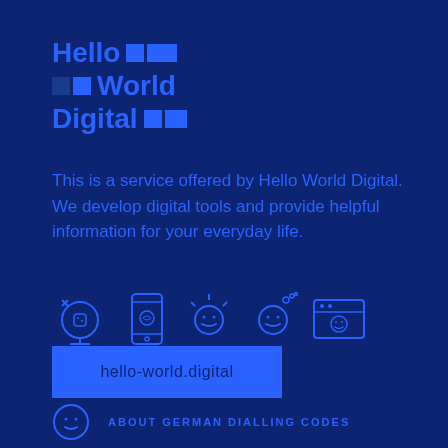[Figure (logo): Hello World Digital logo with blue text and square graphic elements on dark navy background]
This is a service offered by Hello World Digital. We develop digital tools and provide helpful information for your everyday life.
[Figure (illustration): Row of five blue line-art icons: cocktail cup, mobile phone, person with sparkles, person with bubbles, computer window with smiley face]
hello-world.digital
ABOUT GERMAN DIALLING CODES